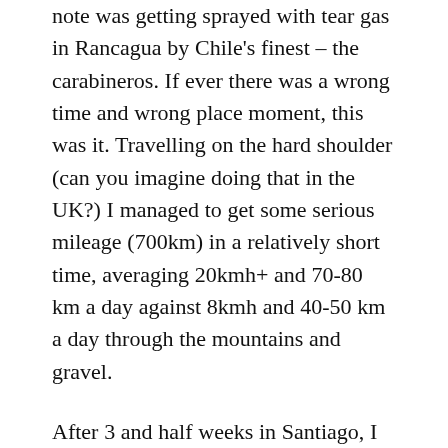note was getting sprayed with tear gas in Rancagua by Chile's finest – the carabineros. If ever there was a wrong time and wrong place moment, this was it. Travelling on the hard shoulder (can you imagine doing that in the UK?) I managed to get some serious mileage (700km) in a relatively short time, averaging 20kmh+ and 70-80 km a day against 8kmh and 40-50 km a day through the mountains and gravel.
After 3 and half weeks in Santiago, I headed west to meet some mutual friends from Kabul who live south of Valparaiso. A quick side trip to Easter Island (another remarkable place) and I caught the second last flight back to mainland